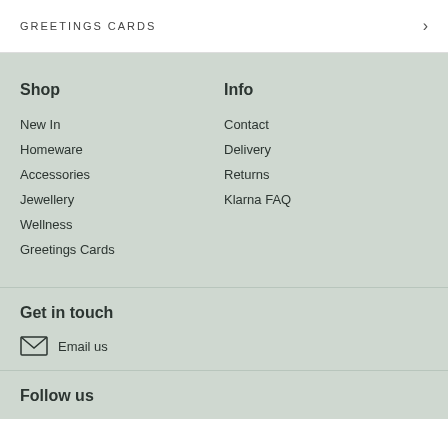GREETINGS CARDS
Shop
New In
Homeware
Accessories
Jewellery
Wellness
Greetings Cards
Info
Contact
Delivery
Returns
Klarna FAQ
Get in touch
Email us
Follow us